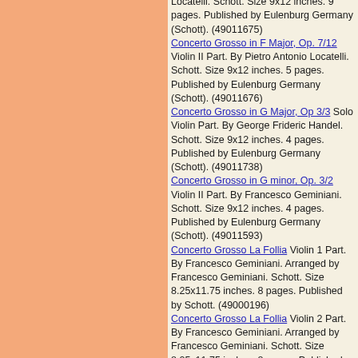Locatelli. Schott. Size 9x12 inches. 9 pages. Published by Eulenburg Germany (Schott). (49011675)
Concerto Grosso in F Major, Op. 7/12 Violin II Part. By Pietro Antonio Locatelli. Schott. Size 9x12 inches. 5 pages. Published by Eulenburg Germany (Schott). (49011676)
Concerto Grosso in G Major, Op 3/3 Solo Violin Part. By George Frideric Handel. Schott. Size 9x12 inches. 4 pages. Published by Eulenburg Germany (Schott). (49011738)
Concerto Grosso in G minor, Op. 3/2 Violin II Part. By Francesco Geminiani. Schott. Size 9x12 inches. 4 pages. Published by Eulenburg Germany (Schott). (49011593)
Concerto Grosso La Follia Violin 1 Part. By Francesco Geminiani. Arranged by Francesco Geminiani. Schott. Size 8.25x11.75 inches. 8 pages. Published by Schott. (49000196)
Concerto Grosso La Follia Violin 2 Part. By Francesco Geminiani. Arranged by Francesco Geminiani. Schott. Size 8.25x11.75 inches. 8 pages. Published by Schott. (49000197)